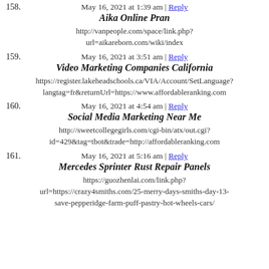158. May 16, 2021 at 1:39 am | Reply
Aika Online Pran
http://vanpeople.com/space/link.php?url=aikareborn.com/wiki/index
159. May 16, 2021 at 3:51 am | Reply
Video Marketing Companies California
https://register.lakeheadschools.ca/VIA/Account/SetLanguage?langtag=fr&returnUrl=https://www.affordableranking.com
160. May 16, 2021 at 4:54 am | Reply
Social Media Marketing Near Me
http://sweetcollegegirls.com/cgi-bin/atx/out.cgi?id=429&tag=tbot&trade=http://affordableranking.com
161. May 16, 2021 at 5:16 am | Reply
Mercedes Sprinter Rust Repair Panels
https://guozhenlai.com/link.php?url=https://crazy4smiths.com/25-merry-days-smiths-day-13-save-pepperidge-farm-puff-pastry-hot-wheels-cars/